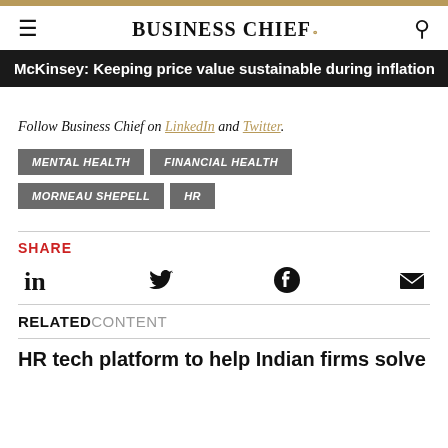BUSINESS CHIEF
McKinsey: Keeping price value sustainable during inflation
Follow Business Chief on LinkedIn and Twitter.
MENTAL HEALTH
FINANCIAL HEALTH
MORNEAU SHEPELL
HR
SHARE
[Figure (infographic): Social share icons: LinkedIn, Twitter, Facebook, Email]
RELATED CONTENT
HR tech platform to help Indian firms solve talent issues